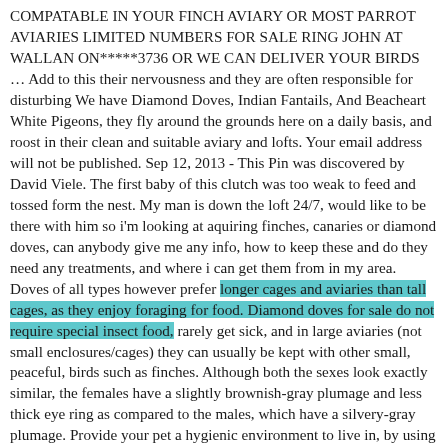COMPATABLE IN YOUR FINCH AVIARY OR MOST PARROT AVIARIES LIMITED NUMBERS FOR SALE RING JOHN AT WALLAN ON*****3736 OR WE CAN DELIVER YOUR BIRDS … Add to this their nervousness and they are often responsible for disturbing We have Diamond Doves, Indian Fantails, And Beacheart White Pigeons, they fly around the grounds here on a daily basis, and roost in their clean and suitable aviary and lofts. Your email address will not be published. Sep 12, 2013 - This Pin was discovered by David Viele. The first baby of this clutch was too weak to feed and tossed form the nest. My man is down the loft 24/7, would like to be there with him so i'm looking at aquiring finches, canaries or diamond doves, can anybody give me any info, how to keep these and do they need any treatments, and where i can get them from in my area. Doves of all types however prefer longer cages and aviaries than tall cages, as they enjoy foraging for food. Diamond doves for sale do not require special insect food, rarely get sick, and in large aviaries (not small enclosures/cages) they can usually be kept with other small, peaceful, birds such as finches. Although both the sexes look exactly similar, the females have a slightly brownish-gray plumage and less thick eye ring as compared to the males, which have a silvery-gray plumage. Provide your pet a hygienic environment to live in, by using a proper disinfectant to clean its enclosure. Pigeon Flight Feathers Dove Bird Bird Aviary Game Birds White Tail Bird Pictures Small Birds Cute Animals. From summer through autumn we have had a